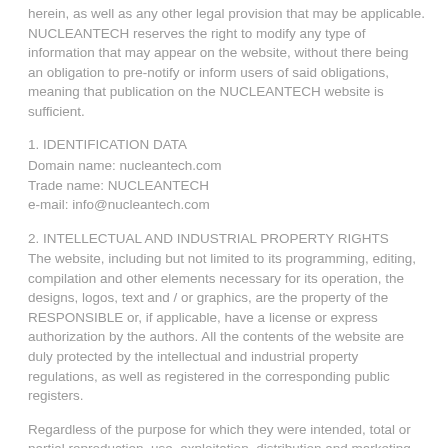herein, as well as any other legal provision that may be applicable. NUCLEANTECH reserves the right to modify any type of information that may appear on the website, without there being an obligation to pre-notify or inform users of said obligations, meaning that publication on the NUCLEANTECH website is sufficient.
1. IDENTIFICATION DATA
Domain name: nucleantech.com
Trade name: NUCLEANTECH
e-mail: info@nucleantech.com
2. INTELLECTUAL AND INDUSTRIAL PROPERTY RIGHTS
The website, including but not limited to its programming, editing, compilation and other elements necessary for its operation, the designs, logos, text and / or graphics, are the property of the RESPONSIBLE or, if applicable, have a license or express authorization by the authors. All the contents of the website are duly protected by the intellectual and industrial property regulations, as well as registered in the corresponding public registers.
Regardless of the purpose for which they were intended, total or partial reproduction, use, exploitation, distribution and marketing, in any case requires the prior written authorization of the RESPONSIBLE. Any previously